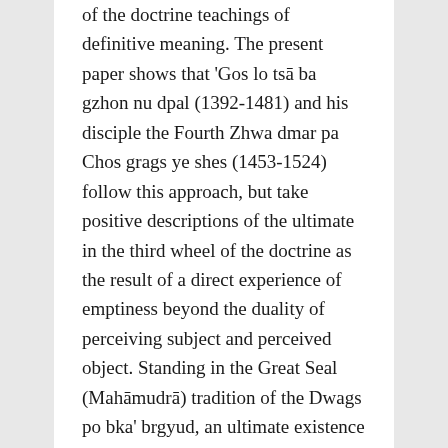of the doctrine teachings of definitive meaning. The present paper shows that 'Gos lo tsā ba gzhon nu dpal (1392-1481) and his disciple the Fourth Zhwa dmar pa Chos grags ye shes (1453-1524) follow this approach, but take positive descriptions of the ultimate in the third wheel of the doctrine as the result of a direct experience of emptiness beyond the duality of perceiving subject and perceived object. Standing in the Great Seal (Mahāmudrā) tradition of the Dwags po bka' brgyud, an ultimate existence of mind, such that self-awareness or the perfect nature exists as an entity, is not accepted by them.</p>